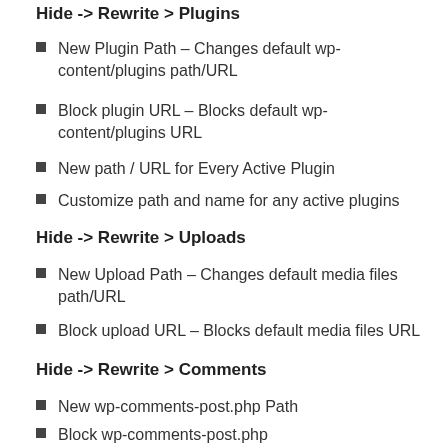Hide -> Rewrite > Plugins
New Plugin Path – Changes default wp-content/plugins path/URL
Block plugin URL – Blocks default wp-content/plugins URL
New path / URL for Every Active Plugin
Customize path and name for any active plugins
Hide -> Rewrite > Uploads
New Upload Path – Changes default media files path/URL
Block upload URL – Blocks default media files URL
Hide -> Rewrite > Comments
New wp-comments-post.php Path
Block wp-comments-post.php